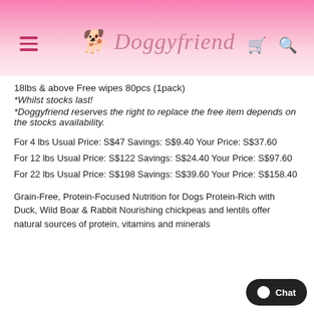Doggyfriend
18lbs & above Free wipes 80pcs (1pack)
*Whilst stocks last!
*Doggyfriend reserves the right to replace the free item depends on the stocks availability.
For 4 lbs Usual Price: S$47 Savings: S$9.40 Your Price: S$37.60
For 12 lbs Usual Price: S$122 Savings: S$24.40 Your Price: S$97.60
For 22 lbs Usual Price: S$198 Savings: S$39.60 Your Price: S$158.40
Grain-Free, Protein-Focused Nutrition for Dogs Protein-Rich with Duck, Wild Boar & Rabbit Nourishing chickpeas and lentils offer natural sources of protein, vitamins and minerals